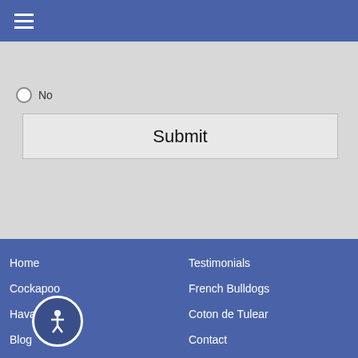≡
No
Submit
Home
Testimonials
Cockapoo
French Bulldogs
Havanese
Coton de Tulear
Blog
Contact